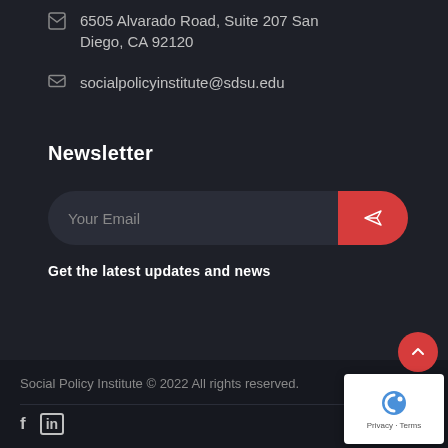6505 Alvarado Road, Suite 207 San Diego, CA 92120
socialpolicyinstitute@sdsu.edu
Newsletter
Your Email
Get the latest updates and news
Social Policy Institute © 2022 All rights reserved.
f  in